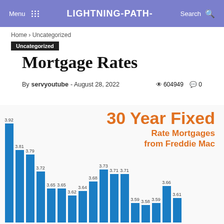Menu  LIGHTNING-PATH  Search
Home › Uncategorized
Uncategorized
Mortgage Rates
By servyoutube - August 28, 2022  604949  0
[Figure (bar-chart): 30 Year Fixed Rate Mortgages from Freddie Mac]